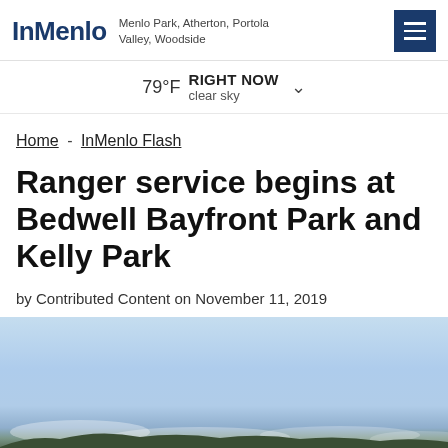InMenlo — Menlo Park, Atherton, Portola Valley, Woodside
79°F RIGHT NOW clear sky
Home - InMenlo Flash
Ranger service begins at Bedwell Bayfront Park and Kelly Park
by Contributed Content on November 11, 2019
[Figure (photo): Outdoor landscape photograph showing a wide open sky with light blue tones and a sun flare in the upper right. The horizon shows a treeline and low clouds.]